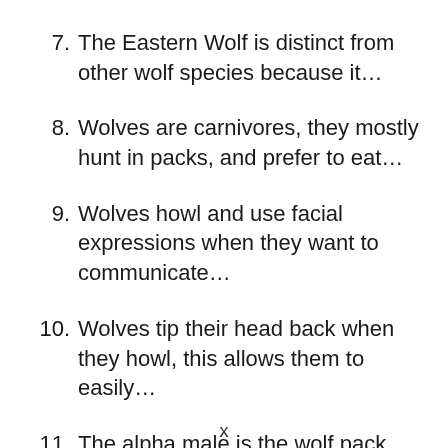7. The Eastern Wolf is distinct from other wolf species because it…
8. Wolves are carnivores, they mostly hunt in packs, and prefer to eat…
9. Wolves howl and use facial expressions when they want to communicate…
10. Wolves tip their head back when they howl, this allows them to easily…
11. The alpha male is the wolf pack leader,
x